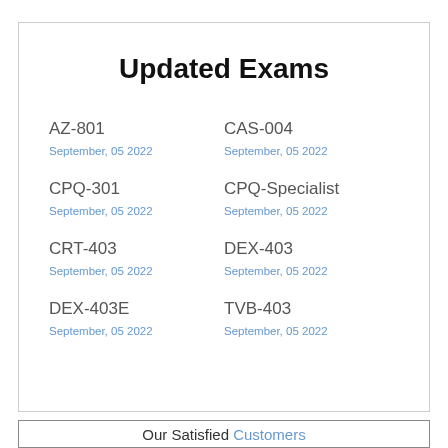Updated Exams
AZ-801
September, 05 2022
CAS-004
September, 05 2022
CPQ-301
September, 05 2022
CPQ-Specialist
September, 05 2022
CRT-403
September, 05 2022
DEX-403
September, 05 2022
DEX-403E
September, 05 2022
TVB-403
September, 05 2022
Our Satisfied Customers